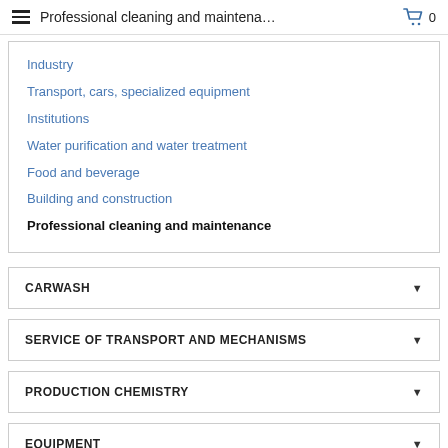Professional cleaning and maintena…  0
Industry
Transport, cars, specialized equipment
Institutions
Water purification and water treatment
Food and beverage
Building and construction
Professional cleaning and maintenance
CARWASH
SERVICE OF TRANSPORT AND MECHANISMS
PRODUCTION CHEMISTRY
EQUIPMENT